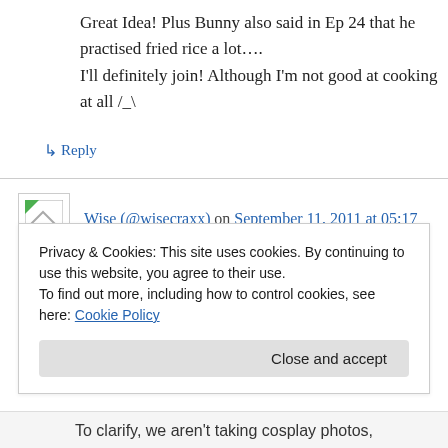Great Idea! Plus Bunny also said in Ep 24 that he practised fried rice a lot….
I'll definitely join! Although I'm not good at cooking at all /_\
↳ Reply
Wise (@wisecraxx) on September 11, 2011 at 05:17
I'll do this in my Kotetsu cosplay if I can. ❤
Privacy & Cookies: This site uses cookies. By continuing to use this website, you agree to their use.
To find out more, including how to control cookies, see here: Cookie Policy
Close and accept
To clarify, we aren't taking cosplay photos,